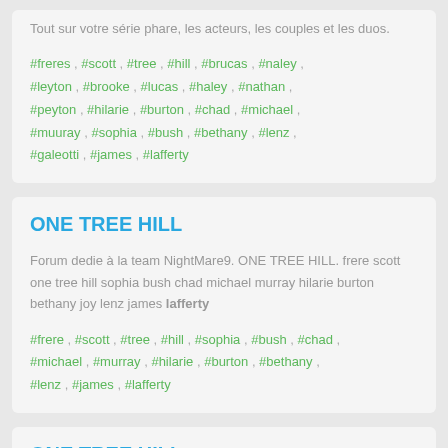Tout sur votre série phare, les acteurs, les couples et les duos.
#freres , #scott , #tree , #hill , #brucas , #naley , #leyton , #brooke , #lucas , #haley , #nathan , #peyton , #hilarie , #burton , #chad , #michael , #muuray , #sophia , #bush , #bethany , #lenz , #galeotti , #james , #lafferty
ONE TREE HILL
Forum dedie à la team NightMare9. ONE TREE HILL. frere scott one tree hill sophia bush chad michael murray hilarie burton bethany joy lenz james lafferty
#frere , #scott , #tree , #hill , #sophia , #bush , #chad , #michael , #murray , #hilarie , #burton , #bethany , #lenz , #james , #lafferty
ONE TREE HILL